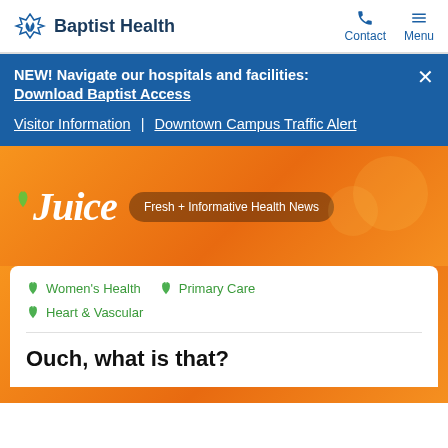Baptist Health | Contact | Menu
NEW! Navigate our hospitals and facilities: Download Baptist Access
Visitor Information | Downtown Campus Traffic Alert
[Figure (logo): Juice - Fresh + Informative Health News logo on orange background]
Women's Health
Primary Care
Heart & Vascular
Ouch, what is that?